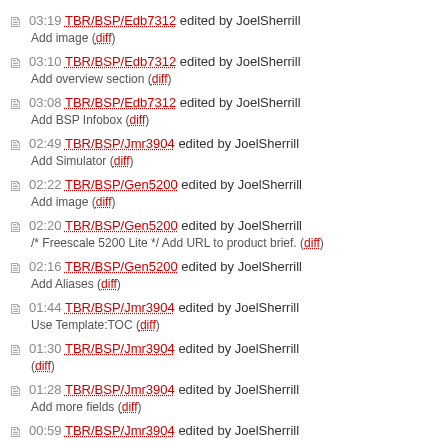03:19 TBR/BSP/Edb7312 edited by JoelSherrill
Add image (diff)
03:10 TBR/BSP/Edb7312 edited by JoelSherrill
Add overview section (diff)
03:08 TBR/BSP/Edb7312 edited by JoelSherrill
Add BSP Infobox (diff)
02:49 TBR/BSP/Jmr3904 edited by JoelSherrill
Add Simulator (diff)
02:22 TBR/BSP/Gen5200 edited by JoelSherrill
Add image (diff)
02:20 TBR/BSP/Gen5200 edited by JoelSherrill
/* Freescale 5200 Lite */ Add URL to product brief. (diff)
02:16 TBR/BSP/Gen5200 edited by JoelSherrill
Add Aliases (diff)
01:44 TBR/BSP/Jmr3904 edited by JoelSherrill
Use Template:TOC (diff)
01:30 TBR/BSP/Jmr3904 edited by JoelSherrill
(diff)
01:28 TBR/BSP/Jmr3904 edited by JoelSherrill
Add more fields (diff)
00:59 TBR/BSP/Jmr3904 edited by JoelSherrill